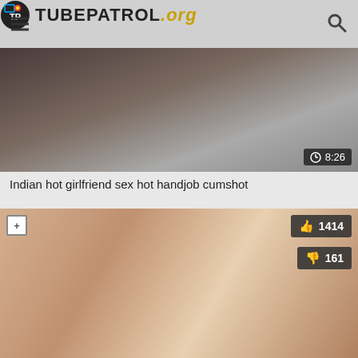[Figure (screenshot): TubePatrol.org website header with hamburger menu, logo, and search icon]
[Figure (screenshot): Video thumbnail showing blurry close-up, duration badge 8:26]
Indian hot girlfriend sex hot handjob cumshot
[Figure (screenshot): Video thumbnail with plus badge, like count 1414, dislike count 161]